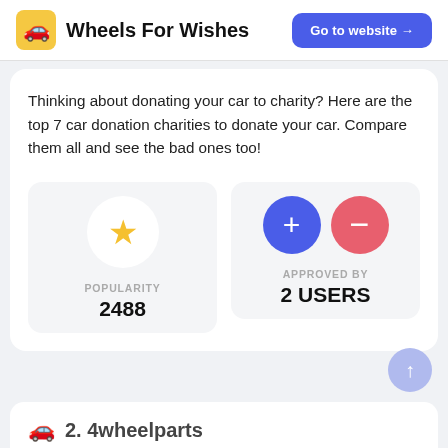Wheels For Wishes
Thinking about donating your car to charity? Here are the top 7 car donation charities to donate your car. Compare them all and see the bad ones too!
[Figure (infographic): Popularity metric with gold star icon in a circle, showing POPULARITY 2488]
[Figure (infographic): Approved By metric with plus and minus circle icons, showing APPROVED BY 2 USERS]